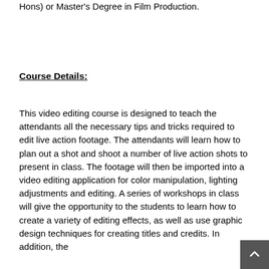Hons) or Master's Degree in Film Production.
Course Details:
This video editing course is designed to teach the attendants all the necessary tips and tricks required to edit live action footage. The attendants will learn how to plan out a shot and shoot a number of live action shots to present in class. The footage will then be imported into a video editing application for color manipulation, lighting adjustments and editing. A series of workshops in class will give the opportunity to the students to learn how to create a variety of editing effects, as well as use graphic design techniques for creating titles and credits. In addition, the